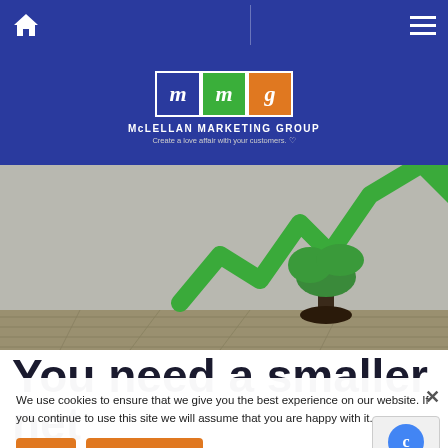McLellan Marketing Group navigation bar with home icon and menu icon
[Figure (logo): McLellan Marketing Group logo: two blue 'm' squares, one green 'm' square, one orange 'g' square, with text 'McLELLAN MARKETING GROUP' and tagline 'Create a love affair with your customers.']
[Figure (photo): A tree shaped like a stock market growth chart arrow, rising upward against a grey wall and wooden floor background]
You need a smaller net
We use cookies to ensure that we give you the best experience on our website. If you continue to use this site we will assume that you are happy with it.
Ok   Privacy policy